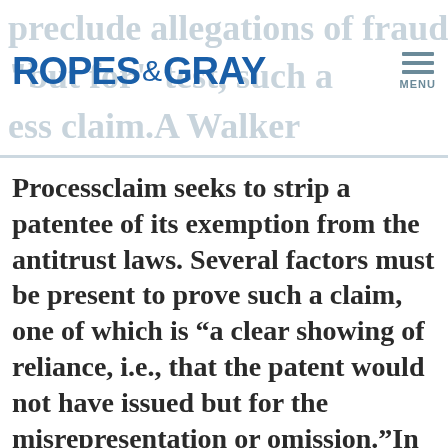ROPES & GRAY  MENU
Processclaim seeks to strip a patentee of its exemption from the antitrust laws. Several factors must be present to prove such a claim, one of which is “a clear showing of reliance, i.e., that the patent would not have issued but for the misrepresentation or omission.”In U.S. Rubber Recycling, Inc. v. ECORE International Inc., et al.(CDCA), plaintiff, U.S. Rubber, alleged that Ecore’s U.S. Patent 6,920,723 was fraudulently procured and wrongfully enforced